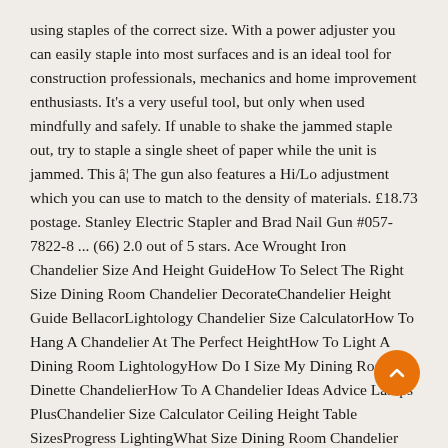using staples of the correct size. With a power adjuster you can easily staple into most surfaces and is an ideal tool for construction professionals, mechanics and home improvement enthusiasts. It's a very useful tool, but only when used mindfully and safely. If unable to shake the jammed staple out, try to staple a single sheet of paper while the unit is jammed. This â¦ The gun also features a Hi/Lo adjustment which you can use to match to the density of materials. £18.73 postage. Stanley Electric Stapler and Brad Nail Gun #057-7822-8 ... (66) 2.0 out of 5 stars. Ace Wrought Iron Chandelier Size And Height GuideHow To Select The Right Size Dining Room Chandelier DecorateChandelier Height Guide BellacorLightology Chandelier Size CalculatorHow To Hang A Chandelier At The Perfect HeightHow To Light A Dining Room LightologyHow Do I Size My Dining Room Or Dinette ChandelierHow To A Chandelier Ideas Advice Lamps PlusChandelier Size Calculator Ceiling Height Table SizesProgress LightingWhat Size Dining Room Chandelier Do I Need A Sizing GuideHow, Product overview product overview furniture bar chair images chairs shimansky jewellery rockwell 2019 outdoor collection outdoor collection. Stanley Tr250 Manual Staple Brad Nail Gun Jensen Tools Supply Heavy duty electric staplenail gun.